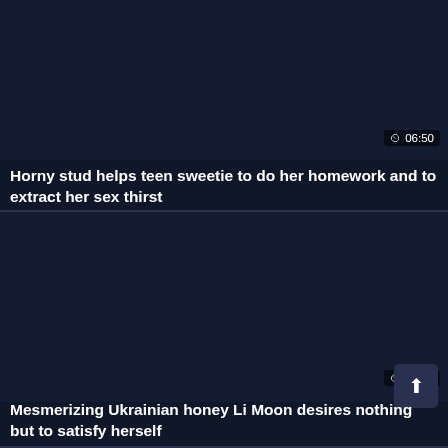[Figure (screenshot): Dark thumbnail placeholder for video card]
06:50
Horny stud helps teen sweetie to do her homework and to extract her sex thirst
[Figure (screenshot): Dark thumbnail placeholder for second video card]
08:00
Mesmerizing Ukrainian honey Li Moon desires nothing but to satisfy herself